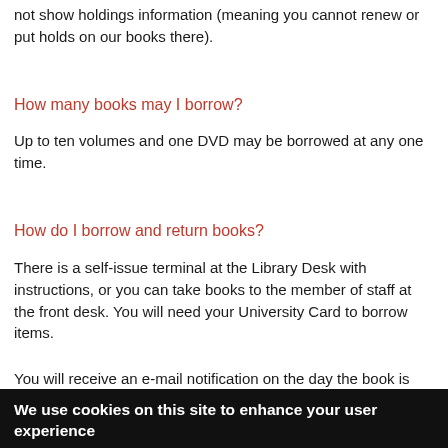not show holdings information (meaning you cannot renew or put holds on our books there).
How many books may I borrow?
Up to ten volumes and one DVD may be borrowed at any one time.
How do I borrow and return books?
There is a self-issue terminal at the Library Desk with instructions, or you can take books to the member of staff at the front desk. You will need your University Card to borrow items.
You will receive an e-mail notification on the day the book is
We use cookies on this site to enhance your user experience